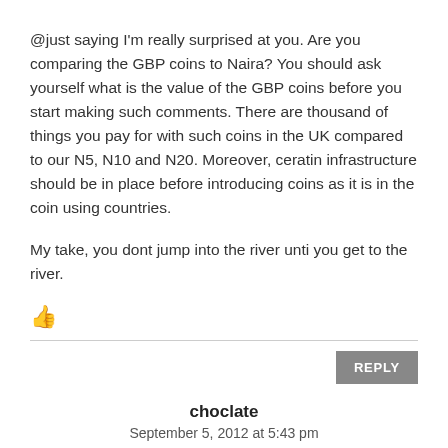@just saying I'm really surprised at you. Are you comparing the GBP coins to Naira? You should ask yourself what is the value of the GBP coins before you start making such comments. There are thousand of things you pay for with such coins in the UK compared to our N5, N10 and N20. Moreover, ceratin infrastructure should be in place before introducing coins as it is in the coin using countries.

My take, you dont jump into the river unti you get to the river.
[Figure (illustration): Orange thumbs-up icon]
REPLY
choclate
September 5, 2012 at 5:43 pm
Well said!
[Figure (illustration): Orange thumbs-up icon (partially visible)]